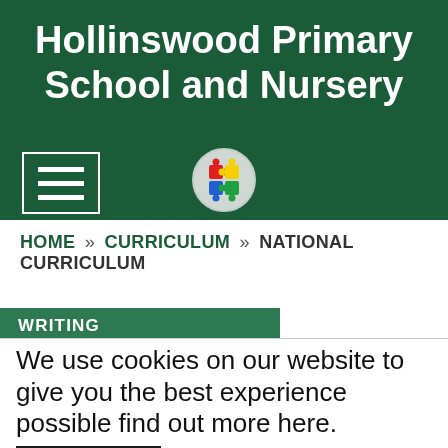Hollinswood Primary School and Nursery
[Figure (logo): School logo: colorful puzzle pieces (red, yellow, blue) in a circular grey badge]
[Figure (other): Hamburger menu icon (three horizontal white bars) in a white-bordered rectangle]
HOME » CURRICULUM » NATIONAL CURRICULUM
WRITING
We use cookies on our website to give you the best experience possible find out more here.
PHONICS
Click to dismiss
READING